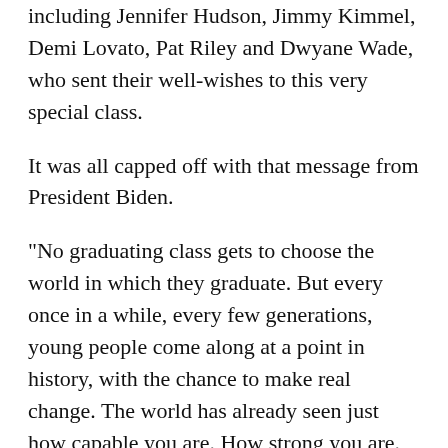including Jennifer Hudson, Jimmy Kimmel, Demi Lovato, Pat Riley and Dwyane Wade, who sent their well-wishes to this very special class.
It was all capped off with that message from President Biden.
"No graduating class gets to choose the world in which they graduate. But every once in a while, every few generations, young people come along at a point in history, with the chance to make real change. The world has already seen just how capable you are. How strong you are. How resilient you are. There no question. You're already changing the world," he said.